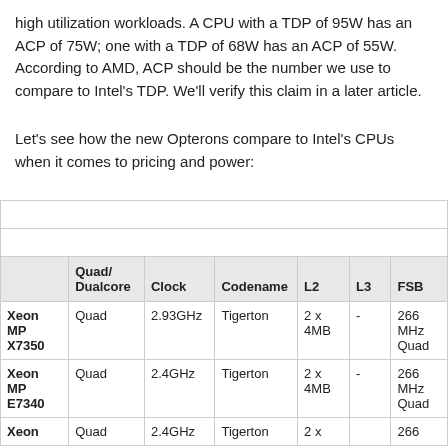high utilization workloads. A CPU with a TDP of 95W has an ACP of 75W; one with a TDP of 68W has an ACP of 55W. According to AMD, ACP should be the number we use to compare to Intel's TDP. We'll verify this claim in a later article.
Let's see how the new Opterons compare to Intel's CPUs when it comes to pricing and power:
|  | Quad/Dualcore | Clock | Codename | L2 | L3 | FSB |
| --- | --- | --- | --- | --- | --- | --- |
| Xeon MP X7350 | Quad | 2.93GHz | Tigerton | 2 x 4MB | - | 266 MHz Quad |
| Xeon MP E7340 | Quad | 2.4GHz | Tigerton | 2 x 4MB | - | 266 MHz Quad |
| Xeon | Quad | 2.4GHz | Tigerton | 2 x |  | 266 |